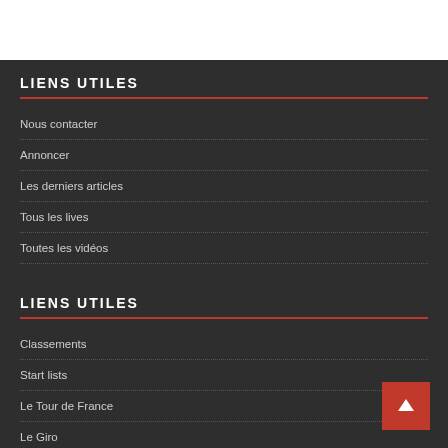LIENS UTILES
Nous contacter
Annoncer
Les derniers articles
Tous les lives
Toutes les vidéos
LIENS UTILES
Classements
Start lists
Le Tour de France
Le Giro